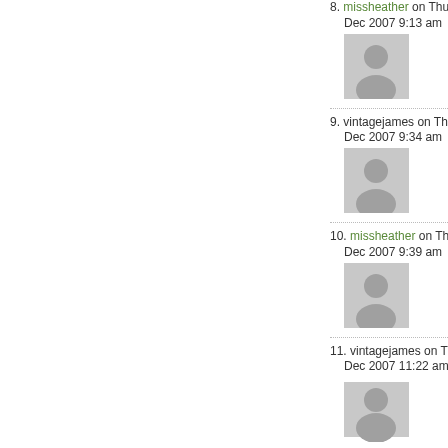8. missheather on Thu, 20… Dec 2007 9:13 am
[Figure (photo): Default user avatar placeholder for comment 8]
9. vintagejames on Thu, 20… Dec 2007 9:34 am
[Figure (photo): Default user avatar placeholder for comment 9]
10. missheather on Thu, 20… Dec 2007 9:39 am
[Figure (photo): Default user avatar placeholder for comment 10]
11. vintagejames on Thu, 20… Dec 2007 11:22 am